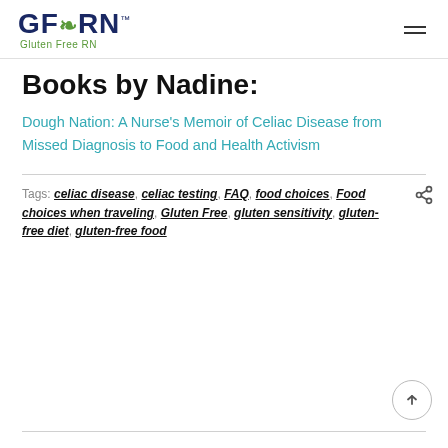GFRN Gluten Free RN
Books by Nadine:
Dough Nation: A Nurse's Memoir of Celiac Disease from Missed Diagnosis to Food and Health Activism
Tags: celiac disease, celiac testing, FAQ, food choices, Food choices when traveling, Gluten Free, gluten sensitivity, gluten-free diet, gluten-free food